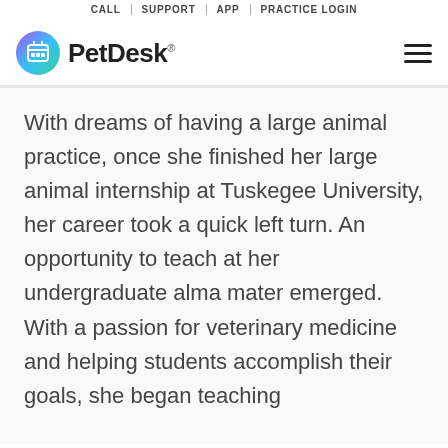CALL | SUPPORT | APP | PRACTICE LOGIN
[Figure (logo): PetDesk logo with circular gradient icon (teal to purple) featuring a grid/calendar symbol, followed by the text PetDesk with registered trademark symbol]
With dreams of having a large animal practice, once she finished her large animal internship at Tuskegee University, her career took a quick left turn. An opportunity to teach at her undergraduate alma mater emerged. With a passion for veterinary medicine and helping students accomplish their goals, she began teaching